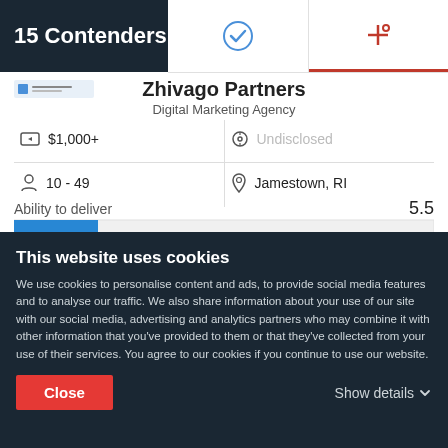15 Contenders
Zhivago Partners
Digital Marketing Agency
| $1,000+ | Undisclosed |
| 10 - 49 | Jamestown, RI |
Ability to deliver 5.5
[Figure (bar-chart): Ability to deliver]
This website uses cookies
We use cookies to personalise content and ads, to provide social media features and to analyse our traffic. We also share information about your use of our site with our social media, advertising and analytics partners who may combine it with other information that you've provided to them or that they've collected from your use of their services. You agree to our cookies if you continue to use our website.
Close
Show details